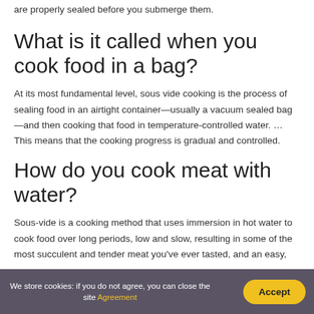are properly sealed before you submerge them.
What is it called when you cook food in a bag?
At its most fundamental level, sous vide cooking is the process of sealing food in an airtight container—usually a vacuum sealed bag—and then cooking that food in temperature-controlled water. … This means that the cooking progress is gradual and controlled.
How do you cook meat with water?
Sous-vide is a cooking method that uses immersion in hot water to cook food over long periods, low and slow, resulting in some of the most succulent and tender meat you've ever tasted, and an easy,
We store cookies: if you do not agree, you can close the site Agreement